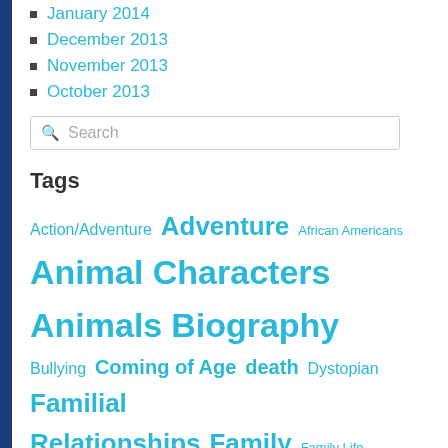January 2014
December 2013
November 2013
October 2013
Search
Tags
Action/Adventure Adventure African Americans Animal Characters Animals Biography Bullying Coming of Age death Dystopian Familial Relationships Family Family Life Family Relationships Fantasy Fiction Friendship Graphic Novel Grief Historical Fiction History Humor